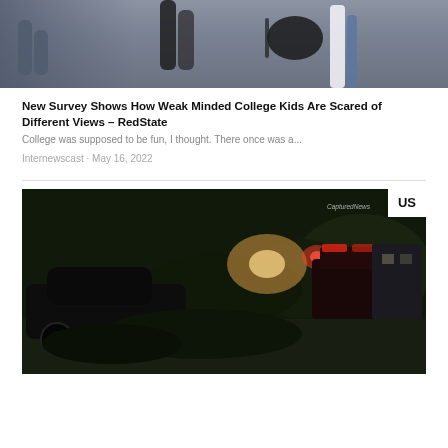[Figure (photo): People walking on a street, legs visible, casual clothing, nighttime or evening scene]
New Survey Shows How Weak Minded College Kids Are Scared of Different Views – RedState
College was supposed to be fun, I thought. There once was a...
Internewscast · May 16, 2022
[Figure (photo): Nighttime car accident scene with emergency vehicles, red and amber lights, dark vegetation, US badge overlay in top right corner, CapturedNews watermark]